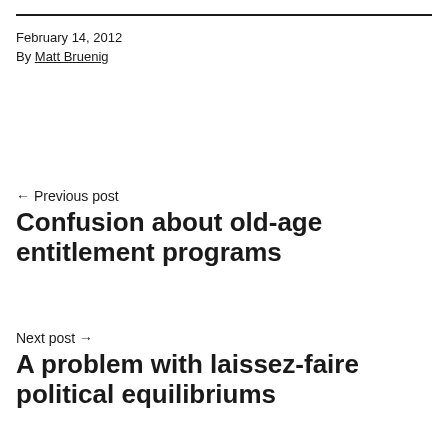February 14, 2012
By Matt Bruenig
← Previous post
Confusion about old-age entitlement programs
Next post →
A problem with laissez-faire political equilibriums